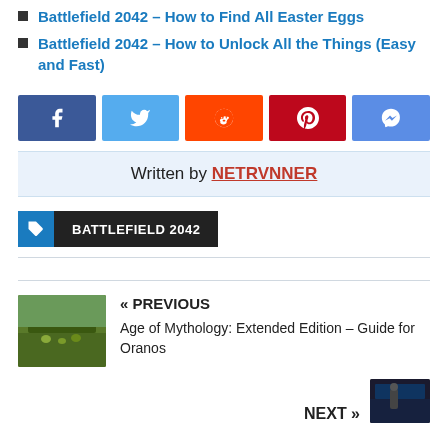Battlefield 2042 – How to Find All Easter Eggs
Battlefield 2042 – How to Unlock All the Things (Easy and Fast)
[Figure (other): Row of social share buttons: Facebook, Twitter, Reddit, Pinterest, Messenger]
Written by NETRVNNER
BATTLEFIELD 2042 (tag label)
« PREVIOUS
Age of Mythology: Extended Edition – Guide for Oranos
NEXT »